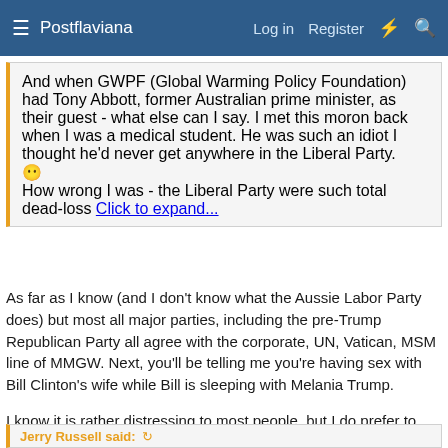Postflaviana — Log in | Register
And when GWPF (Global Warming Policy Foundation) had Tony Abbott, former Australian prime minister, as their guest - what else can I say. I met this moron back when I was a medical student. He was such an idiot I thought he'd never get anywhere in the Liberal Party. 😶

How wrong I was - the Liberal Party were such total dead-loss
Click to expand...
As far as I know (and I don't know what the Aussie Labor Party does) but most all major parties, including the pre-Trump Republican Party all agree with the corporate, UN, Vatican, MSM line of MMGW. Next, you'll be telling me you're having sex with Bill Clinton's wife while Bill is sleeping with Melania Trump.
I know it is rather distressing to most people, but I do prefer to seek coherency in my life. By your logic, this makes you a lifetime actor.
Jerry Russell said: